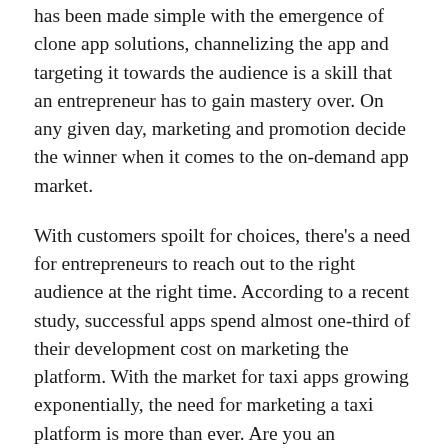has been made simple with the emergence of clone app solutions, channelizing the app and targeting it towards the audience is a skill that an entrepreneur has to gain mastery over. On any given day, marketing and promotion decide the winner when it comes to the on-demand app market.
With customers spoilt for choices, there's a need for entrepreneurs to reach out to the right audience at the right time. According to a recent study, successful apps spend almost one-third of their development cost on marketing the platform. With the market for taxi apps growing exponentially, the need for marketing a taxi platform is more than ever. Are you an entrepreneur who wishes to launch an on -demand taxi app? In such a case, you need to know about different marketing strategies that make your platform stand apart. This blog discusses a step-by-step process that can help you market your taxi